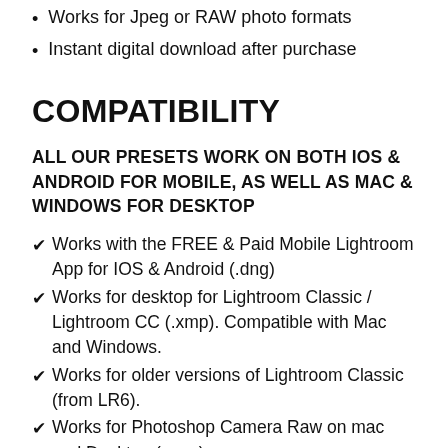Compatible with Windows, Mac, Android & iOS
Works for Jpeg or RAW photo formats
Instant digital download after purchase
COMPATIBILITY
ALL OUR PRESETS WORK ON BOTH IOS & ANDROID FOR MOBILE, AS WELL AS MAC & WINDOWS FOR DESKTOP
✔ Works with the FREE & Paid Mobile Lightroom App for IOS & Android (.dng)
✔ Works for desktop for Lightroom Classic / Lightroom CC (.xmp). Compatible with Mac and Windows.
✔ Works for older versions of Lightroom Classic (from LR6).
✔ Works for Photoshop Camera Raw on mac and Desktop (.xmp).